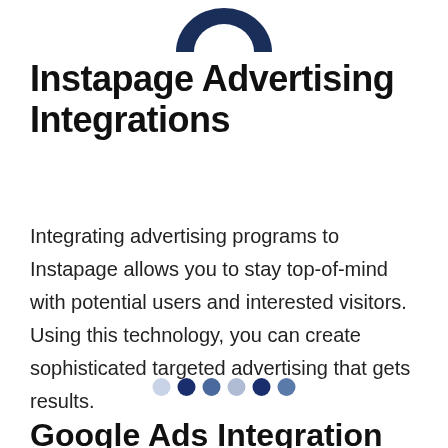[Figure (logo): Instapage logo icon — dark navy semi-circle / shield shape at top of page]
Instapage Advertising Integrations
Integrating advertising programs to Instapage allows you to stay top-of-mind with potential users and interested visitors. Using this technology, you can create sophisticated targeted advertising that gets results.
[Figure (infographic): A row of six dots in varying shades of blue/grey used as a carousel navigation indicator]
Google Ads Integration